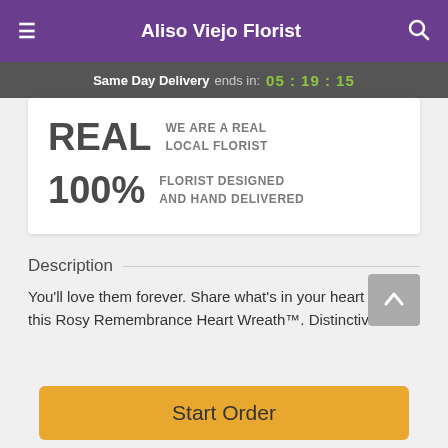Aliso Viejo Florist
Same Day Delivery ends in: 05 : 19 : 15
REAL  WE ARE A REAL LOCAL FLORIST
100%  FLORIST DESIGNED AND HAND DELIVERED
Description
You'll love them forever. Share what's in your heart with this Rosy Remembrance Heart Wreath™. Distinctive and
Start Order